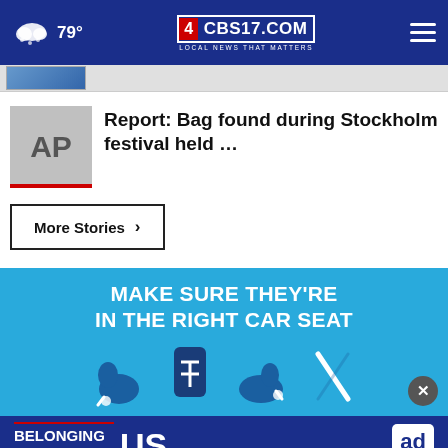79° CBS17.COM LOCAL NEWS THAT MATTERS
[Figure (screenshot): Small thumbnail image strip showing a partial blue image]
[Figure (logo): AP (Associated Press) grey logo thumbnail]
Report: Bag found during Stockholm festival held …
More Stories ›
[Figure (infographic): Ad banner: MAKE SURE THEY'RE IN THE RIGHT CAR SEAT — showing car seat safety icons on blue background]
[Figure (infographic): Ad Council banner: BELONGING BEGINS WITH US — dark blue background with Ad Council logo]